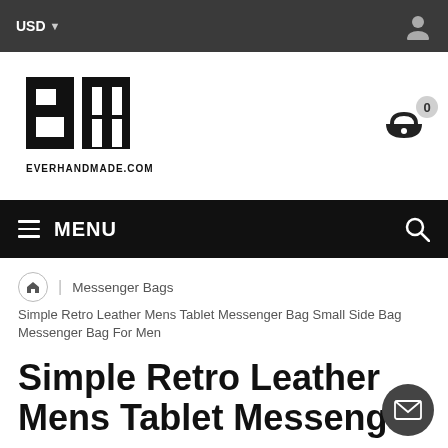USD
[Figure (logo): EverHandmade.com logo — bold black geometric EH monogram with text EVERHANDMADE.COM below]
[Figure (other): Shopping cart icon with badge showing 0 items]
MENU
Messenger Bags
Simple Retro Leather Mens Tablet Messenger Bag Small Side Bag Messenger Bag For Men
Simple Retro Leather Mens Tablet Messenger